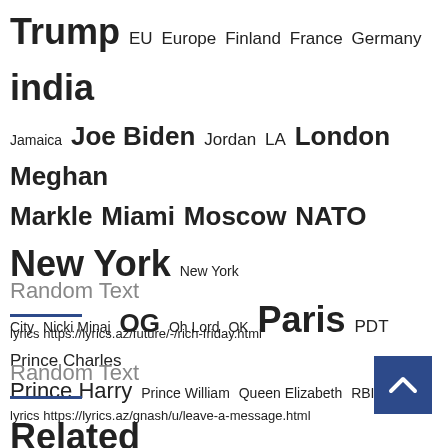Trump EU Europe Finland France Germany india Jamaica Joe Biden Jordan LA London Meghan Markle Miami Moscow NATO New York New York City Nicki Minaj OG Oh Lord OK Paris PDT Prince Charles Prince Harry Prince William Queen Elizabeth RBI Related Posts Russia Submit Lyrics TV United States US Vanity Fair VIP VVS Vybz Kartel
Random Text
lyrics https://lyrics.az/future/-/rich-friday.html
Random Text
lyrics https://lyrics.az/gnash/u/leave-a-message.html